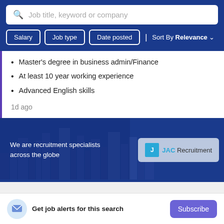[Figure (screenshot): Search bar with placeholder text: Job title, keyword or company]
[Figure (screenshot): Filter buttons: Salary, Job type, Date posted; Sort By Relevance dropdown]
Master's degree in business admin/Finance
At least 10 year working experience
Advanced English skills
1d ago
[Figure (illustration): JAC Recruitment banner: 'We are recruitment specialists across the globe' with city skyline background and puzzle piece logo]
Get job alerts for this search
Subscribe